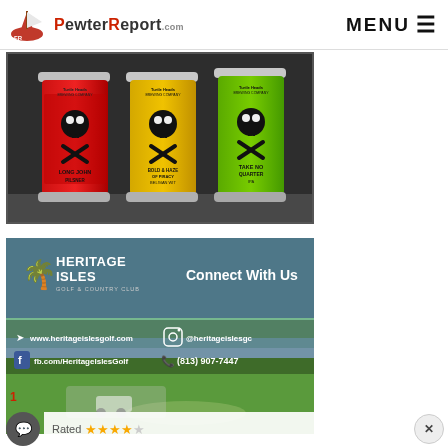PewterReport.com   MENU ☰
[Figure (photo): Three beer cans from Turtle Heads Brewing Company: Long John Pilsner (red can), Bold & Haze of Piracy Belgian Wit (yellow can), Take No Quarter IPA (green can), each featuring skull and crossbones logo]
[Figure (photo): Heritage Isles Golf & Country Club advertisement with golf course background showing: 'Connect With Us', www.heritageislesgolf.com, @heritageislesgc, fb.com/HeritageIslesGolf, (813) 907-7447]
1
Rated ★★★★☆